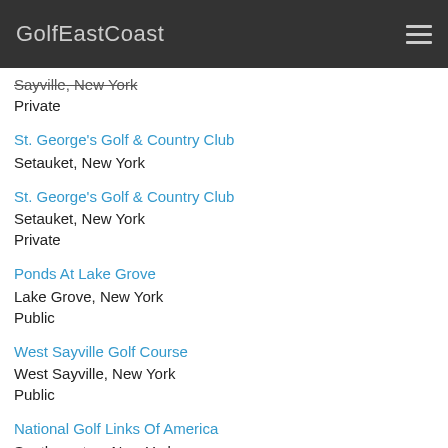GolfEastCoast
Sayville, New York
Private
St. George's Golf & Country Club
Setauket, New York
St. George's Golf & Country Club
Setauket, New York
Private
Ponds At Lake Grove
Lake Grove, New York
Public
West Sayville Golf Course
West Sayville, New York
Public
National Golf Links Of America
Southampton, New York
Private